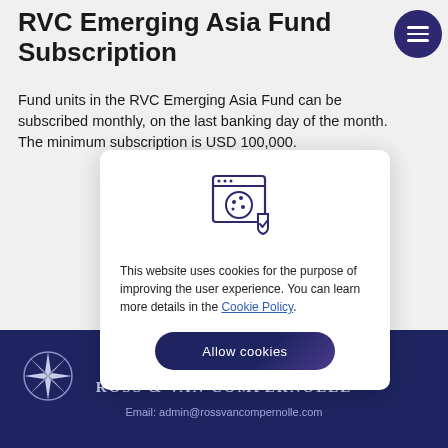RVC Emerging Asia Fund Subscription
Fund units in the RVC Emerging Asia Fund can be subscribed monthly, on the last banking day of the month. The minimum subscription is USD 100,000.
[Figure (infographic): Cookie consent dialog with browser/cookie icon showing a browser window with a cookie and a shield checkmark icon]
This website uses cookies for the purpose of improving the user experience. You can learn more details in the Cookie Policy.
Ross & Van Compernolle | Email: admin@rossvancompernolle.com